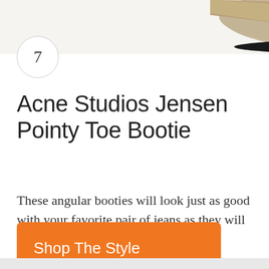[Figure (photo): Partial view of a tan/khaki suede pointy toe bootie with a black sole and metal toe cap, photographed against a white background, cropped at the top of the page.]
7
Acne Studios Jensen Pointy Toe Bootie
These angular booties will look just as good with your favorite pair of jeans as they will with a skirt or dress.
Shop The Style